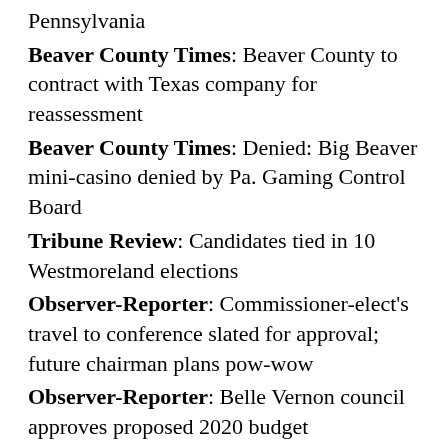Pennsylvania
Beaver County Times: Beaver County to contract with Texas company for reassessment
Beaver County Times: Denied: Big Beaver mini-casino denied by Pa. Gaming Control Board
Tribune Review: Candidates tied in 10 Westmoreland elections
Observer-Reporter: Commissioner-elect's travel to conference slated for approval; future chairman plans pow-wow
Observer-Reporter: Belle Vernon council approves proposed 2020 budget
NEPA
Times-Tribune: Cummings making late push to add Jesus Christ's name to Courthouse